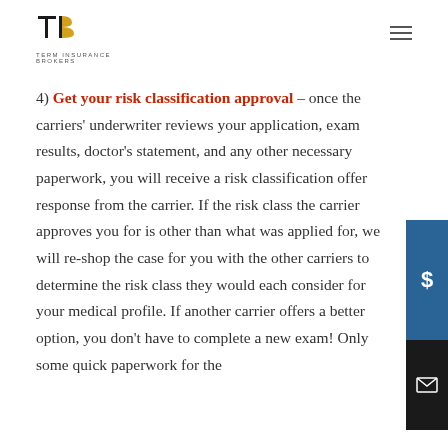Term Insurance Brokers
4) Get your risk classification approval – once the carriers' underwriter reviews your application, exam results, doctor's statement, and any other necessary paperwork, you will receive a risk classification offer response from the carrier. If the risk class the carrier approves you for is other than what was applied for, we will re-shop the case for you with the other carriers to determine the risk class they would each consider for your medical profile. If another carrier offers a better option, you don't have to complete a new exam! Only some quick paperwork for the